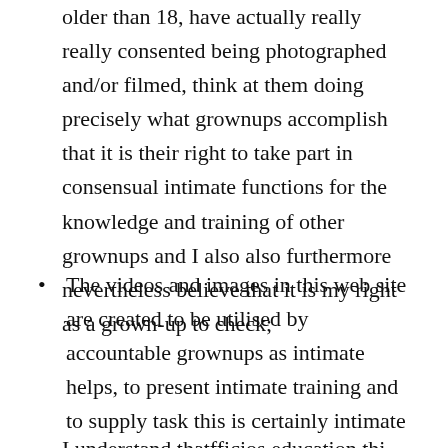older than 18, have actually really really consented being photographed and/or filmed, think at them doing precisely what grownups accomplish that it is their right to take part in consensual intimate functions for the knowledge and training of other grownups and I also also furthermore nevertheless believe that it is my right as a grown-up to check;
The videos and images in this web site are created to be utilised by accountable grownups as intimate helps, to present intimate training and to supply task this is certainly intimate
I understand thatfficios education this